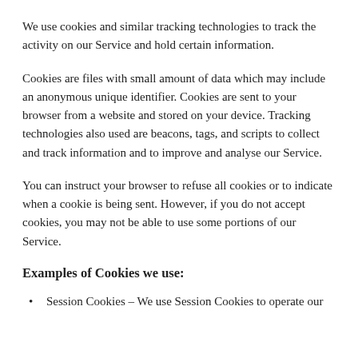We use cookies and similar tracking technologies to track the activity on our Service and hold certain information.
Cookies are files with small amount of data which may include an anonymous unique identifier. Cookies are sent to your browser from a website and stored on your device. Tracking technologies also used are beacons, tags, and scripts to collect and track information and to improve and analyse our Service.
You can instruct your browser to refuse all cookies or to indicate when a cookie is being sent. However, if you do not accept cookies, you may not be able to use some portions of our Service.
Examples of Cookies we use:
Session Cookies – We use Session Cookies to operate our